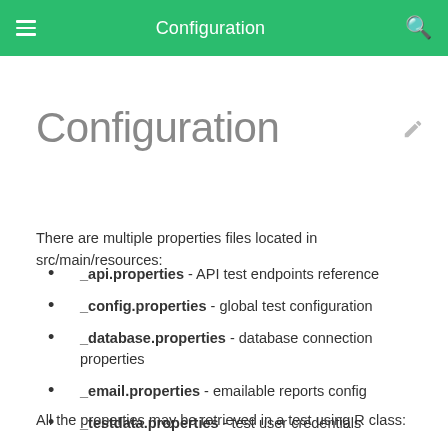Configuration
Configuration
There are multiple properties files located in src/main/resources:
_api.properties - API test endpoints reference
_config.properties - global test configuration
_database.properties - database connection properties
_email.properties - emailable reports config
_testdata.properties - test user credentials
All the properties may be retrieved in a test using R class:
R.API.get("GetUserMethods")
R.CONFIG.get("browser")